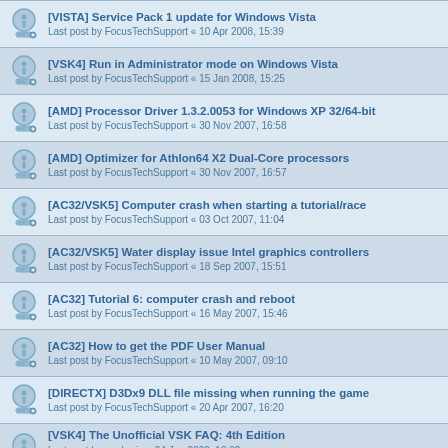[VISTA] Service Pack 1 update for Windows Vista
Last post by FocusTechSupport « 10 Apr 2008, 15:39
[VSK4] Run in Administrator mode on Windows Vista
Last post by FocusTechSupport « 15 Jan 2008, 15:25
[AMD] Processor Driver 1.3.2.0053 for Windows XP 32/64-bit
Last post by FocusTechSupport « 30 Nov 2007, 16:58
[AMD] Optimizer for Athlon64 X2 Dual-Core processors
Last post by FocusTechSupport « 30 Nov 2007, 16:57
[AC32/VSK5] Computer crash when starting a tutorial/race
Last post by FocusTechSupport « 03 Oct 2007, 11:04
[AC32/VSK5] Water display issue Intel graphics controllers
Last post by FocusTechSupport « 18 Sep 2007, 15:51
[AC32] Tutorial 6: computer crash and reboot
Last post by FocusTechSupport « 16 May 2007, 15:46
[AC32] How to get the PDF User Manual
Last post by FocusTechSupport « 10 May 2007, 09:10
[DIRECTX] D3Dx9 DLL file missing when running the game
Last post by FocusTechSupport « 20 Apr 2007, 16:20
[VSK4] The Unofficial VSK FAQ: 4th Edition
Last post by euphoria « 24 Jan 2006, 10:32
Replies: 3
[DRIVERS] How to update display drivers
Last post by FocusTechSupport « 17 Nov 2005, 14:49